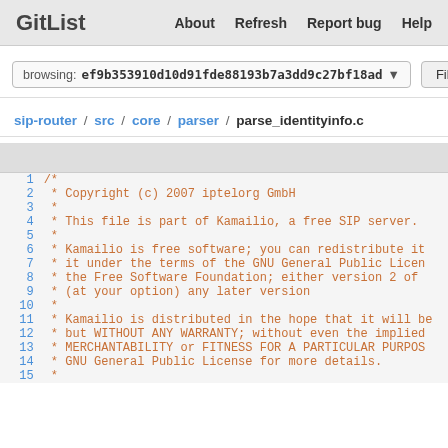GitList   About   Refresh   Report bug   Help
browsing: ef9b353910d10d91fde88193b7a3dd9c27bf18ad ▾   Files
sip-router / src / core / parser / parse_identityinfo.c
1  /*
2   * Copyright (c) 2007 iptelorg GmbH
3   *
4   * This file is part of Kamailio, a free SIP server.
5   *
6   * Kamailio is free software; you can redistribute it
7   * it under the terms of the GNU General Public Licen
8   * the Free Software Foundation; either version 2 of
9   * (at your option) any later version
10  *
11  * Kamailio is distributed in the hope that it will be
12  * but WITHOUT ANY WARRANTY; without even the implied
13  * MERCHANTABILITY or FITNESS FOR A PARTICULAR PURPOS
14  * GNU General Public License for more details.
15  *